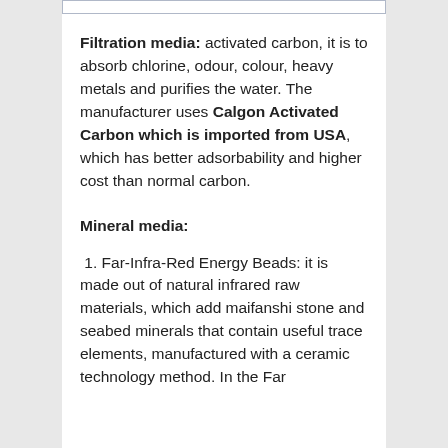Filtration media: activated carbon, it is to absorb chlorine, odour, colour, heavy metals and purifies the water. The manufacturer uses Calgon Activated Carbon which is imported from USA, which has better adsorbability and higher cost than normal carbon.
Mineral media:
1. Far-Infra-Red Energy Beads: it is made out of natural infrared raw materials, which add maifanshi stone and seabed minerals that contain useful trace elements, manufactured with a ceramic technology method. In the Far...